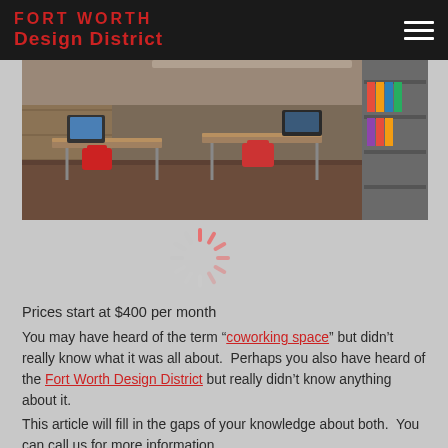FORT WORTH Design District
[Figure (photo): Interior photo of a coworking office space with wooden desks, red chairs, laptop computers, and shelving units along the walls]
[Figure (other): Loading spinner / activity indicator graphic in pink/red color]
Prices start at $400 per month
You may have heard of the term “coworking space” but didn’t really know what it was all about. Perhaps you also have heard of the Fort Worth Design District but really didn’t know anything about it.
This article will fill in the gaps of your knowledge about both. You can call us for more information